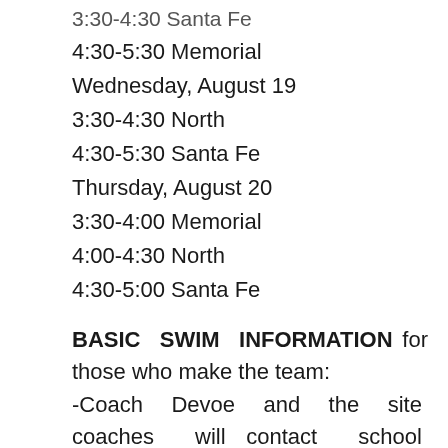3:30-4:30 Santa Fe
4:30-5:30 Memorial
Wednesday, August 19
3:30-4:30 North
4:30-5:30 Santa Fe
Thursday, August 20
3:30-4:00 Memorial
4:00-4:30 North
4:30-5:00 Santa Fe
BASIC SWIM INFORMATION for those who make the team: -Coach Devoe and the site coaches will contact school counselors to have swimmers enrolled in 7th hour for swimming -All swimmers MUST be enrolled in 7th hour at their site school -All swimmers will be required to purchase an